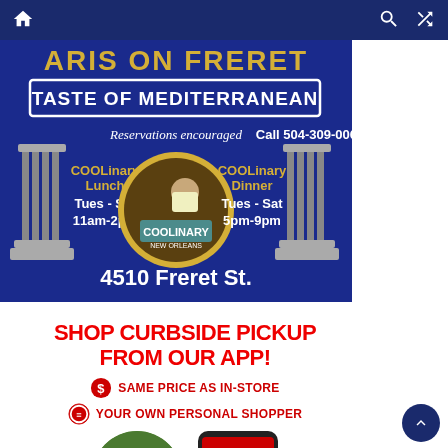Navigation bar with home, search, and shuffle icons
[Figure (illustration): Restaurant advertisement for Aris on Freret - Taste of Mediterranean. Blue background with Greek columns imagery, COOLinary New Orleans badge in center. Text: 'ARIS ON FRERET', 'TASTE OF MEDITERRANEAN', 'Reservations encouraged Call 504-309-0069', 'COOLinary Lunch Tues - Sat 11am-2pm', 'COOLinary Dinner Tues - Sat 5pm-9pm', '4510 Freret St.']
[Figure (illustration): Shop Curbside Pickup advertisement with red bold text 'SHOP CURBSIDE PICKUP FROM OUR APP!', bullet points: 'SAME PRICE AS IN-STORE', 'YOUR OWN PERSONAL SHOPPER', circular grocery store image on left, phone showing NEW APP on right]